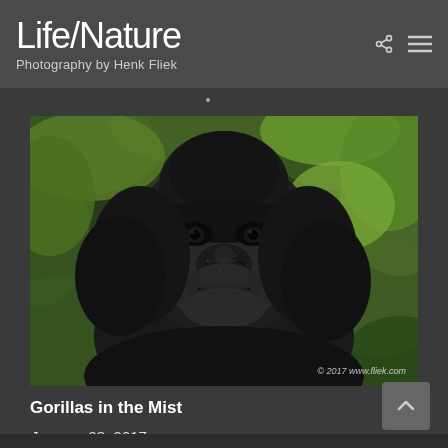Life/Nature
Photography by Henk Fliek
[Figure (photo): Close-up portrait of a mountain gorilla with black fur, looking directly at camera, surrounded by lush green foliage. Watermark reads: © 2017 www.fliek.com]
Gorillas in the Mist
January 28, 2017